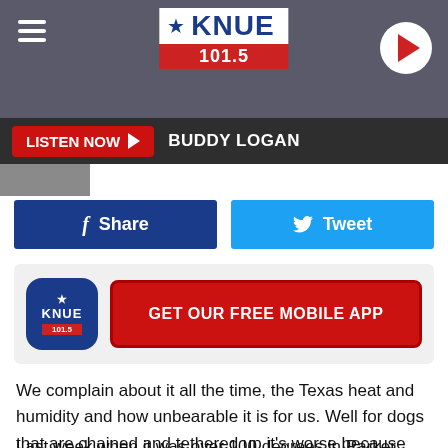[Figure (screenshot): KNUE 101.5 radio station website header with logo, hamburger menu, and play button on dark background]
KNUE 101.5 | LISTEN NOW ▶ BUDDY LOGAN
[Figure (screenshot): Social share buttons: Facebook Share (dark blue) and Twitter Tweet (light blue)]
[Figure (screenshot): GET OUR FREE MOBILE APP promotional banner with KNUE logo]
We complain about it all the time, the Texas heat and humidity and how unbearable it is for us. Well for dogs that are chained and tethered up it's worse because they can't escape the heat and find any relief because their movement is limited.
Last week when it was over 100 degrees in Parker County, east of Fort Worth/Tarrant County, a neighbor of 80-year-old